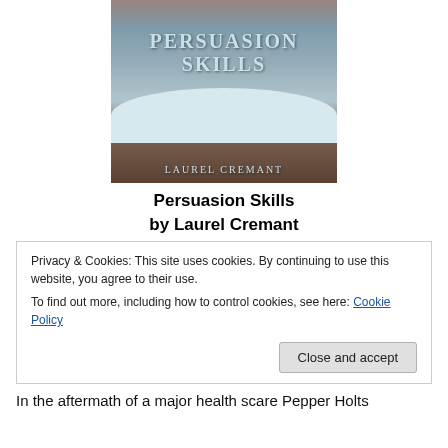[Figure (illustration): Book cover for 'Persuasion Skills' by Laurel Cremant, showing a winter scene with snow-covered trees and a cabin, with the title and author name in stylized text]
Persuasion Skills
by Laurel Cremant
Privacy & Cookies: This site uses cookies. By continuing to use this website, you agree to their use.
To find out more, including how to control cookies, see here: Cookie Policy
Close and accept
In the aftermath of a major health scare Pepper Holts